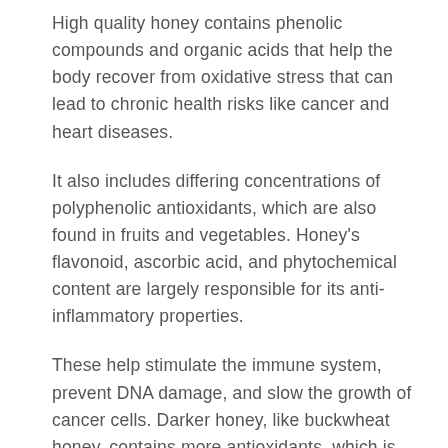High quality honey contains phenolic compounds and organic acids that help the body recover from oxidative stress that can lead to chronic health risks like cancer and heart diseases.
It also includes differing concentrations of polyphenolic antioxidants, which are also found in fruits and vegetables. Honey's flavonoid, ascorbic acid, and phytochemical content are largely responsible for its anti-inflammatory properties.
These help stimulate the immune system, prevent DNA damage, and slow the growth of cancer cells. Darker honey, like buckwheat honey, contains more antioxidants, which is helpful in lowering blood pressure.